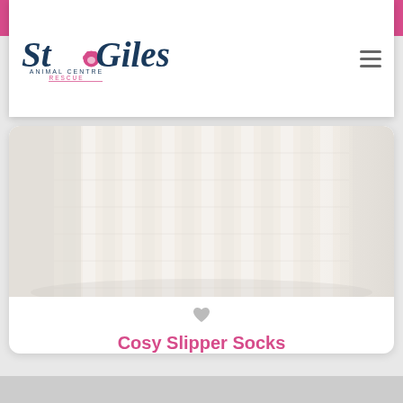My Account  Basket  DONATE
[Figure (logo): St Giles Animal Centre Rescue logo with paw print]
[Figure (photo): Close-up photo of cream/white ribbed knit slipper socks]
Cosy Slipper Socks
Keep your feet toastie in the cold weather in these ladies socks from White Stuff
£12.00